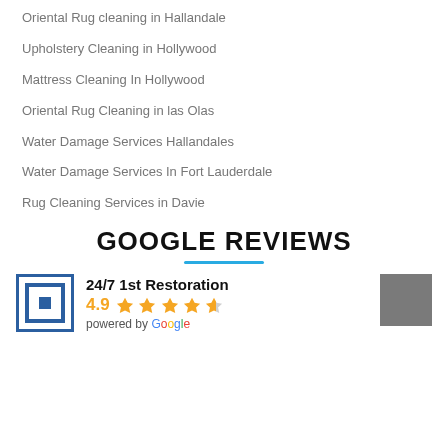Oriental Rug cleaning in Hallandale
Upholstery Cleaning in Hollywood
Mattress Cleaning In Hollywood
Oriental Rug Cleaning in las Olas
Water Damage Services Hallandales
Water Damage Services In Fort Lauderdale
Rug Cleaning Services in Davie
GOOGLE REVIEWS
24/7 1st Restoration
4.9 ★★★★☆
powered by Google